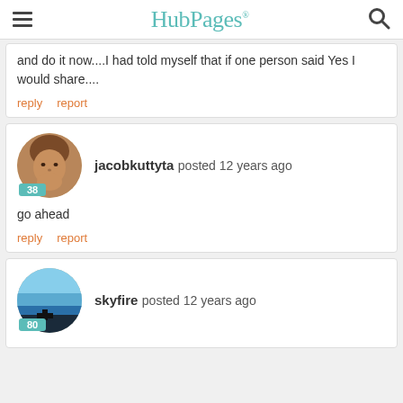HubPages
and do it now....I had told myself that if one person said Yes I would share....
reply   report
[Figure (photo): Profile photo of jacobkuttyta with badge 38]
jacobkuttyta posted 12 years ago
go ahead
reply   report
[Figure (photo): Profile photo of skyfire with badge 80]
skyfire posted 12 years ago